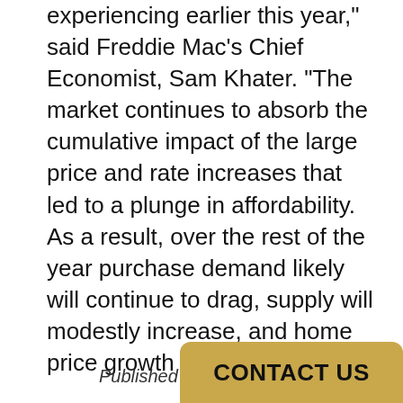mortgage rates that the housing market was experiencing earlier this year," said Freddie Mac's Chief Economist, Sam Khater. "The market continues to absorb the cumulative impact of the large price and rate increases that led to a plunge in affordability. As a result, over the rest of the year purchase demand likely will continue to drag, supply will modestly increase, and home price growth will decelerate."
Based on published national averages, the savings rate cap was 3.07% as of 8/15. The one-year CD averaged 4.33%.
Published Aug